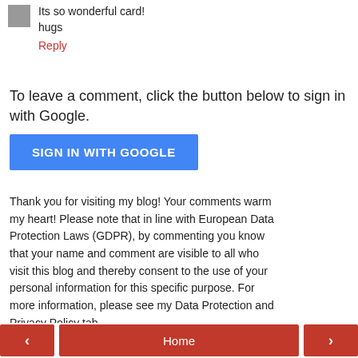Its so wonderful card!
hugs
Reply
To leave a comment, click the button below to sign in with Google.
SIGN IN WITH GOOGLE
Thank you for visiting my blog! Your comments warm my heart! Please note that in line with European Data Protection Laws (GDPR), by commenting you know that your name and comment are visible to all who visit this blog and thereby consent to the use of your personal information for this specific purpose. For more information, please see my Data Protection and Privacy Policy tab.
‹  Home  ›